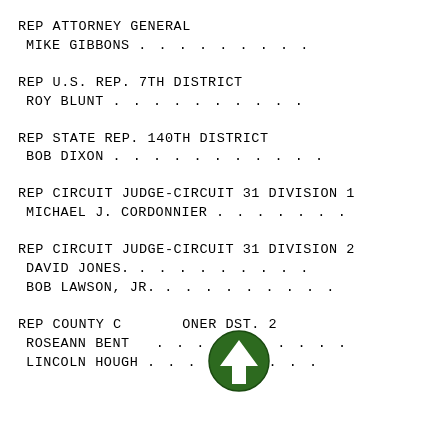REP ATTORNEY GENERAL
 MIKE GIBBONS . . . . . . . . .
REP U.S. REP. 7TH DISTRICT
 ROY BLUNT . . . . . . . . . .
REP STATE REP. 140TH DISTRICT
 BOB DIXON . . . . . . . . . . .
REP CIRCUIT JUDGE-CIRCUIT 31 DIVISION 1
 MICHAEL J. CORDONNIER . . . . . . .
REP CIRCUIT JUDGE-CIRCUIT 31 DIVISION 2
 DAVID JONES. . . . . . . . . . .
 BOB LAWSON, JR. . . . . . . . . .
REP COUNTY COMMISSIONER DST. 2
 ROSEANN BENT . . . . . . . . . .
 LINCOLN HOUGH . . . . . . . . .